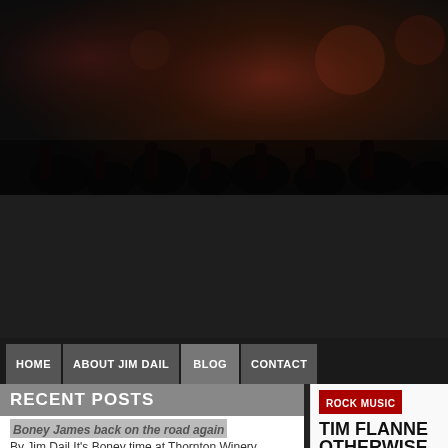[Figure (photo): Dark concert crowd photo, blurred, reddish-dark tones]
HOME | ABOUT JIM DAIL | BLOG | CONTACT
RECENT POSTS
Boney James back on the road again
By Jim Dail It's Boney time at Thornton Winery. Jazzman Boney James, he of the »
Jefferson Starship keeps history and music alive By Jim Dail Throughout musical history, bands and »
After lockdown, Botti ready for the road
By Jim Dail The show has always been the lifeblood of trumpeter Chris Botti's career. »
ROCK MUSIC
TIM FLANNE OTHERWISE
Published on March 2
By Jim Dail
Tim Flannery sha
[Figure (photo): Portrait photo of a man, dark background, head and shoulders visible]